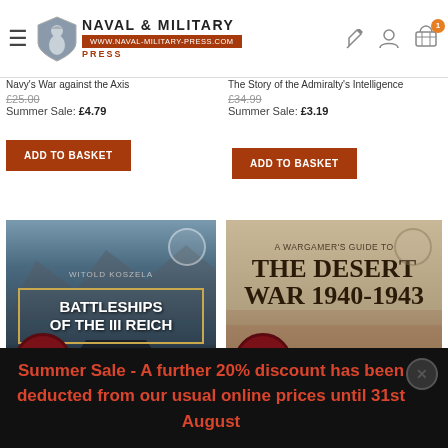[Figure (screenshot): Naval & Military Press website header with logo, navigation hamburger icon, search icon, account icon, and shopping cart with badge showing 1 item]
Navy's War against the Axis
The Story of the Admiralty's Intelligence
£25.00 (original price) Summer Sale: £4.79
£34.99 (original price) Summer Sale: £3.19
[Figure (other): ADD TO BASKET button (left product)]
[Figure (other): ADD TO BASKET button (right product)]
[Figure (illustration): Book cover: Battleships of the III Reich by Witold Koszela, dark naval scene with battleship, -70% discount badge]
[Figure (illustration): Book cover: A Wargamer's Guide to The Desert War 1940-1943, desert tones, -75% discount badge]
Summer Sale - A further 20% discount has been deducted from our usual online prices until 31st August